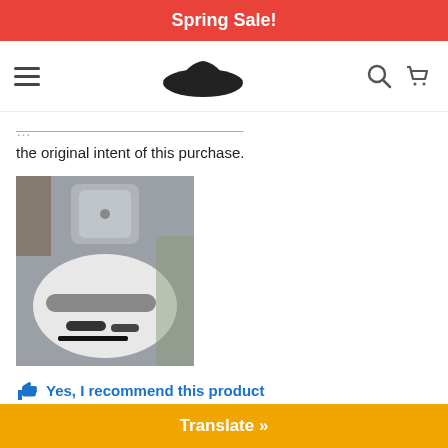Spring Sale!
[Figure (screenshot): Navigation bar with hamburger menu, turtle/car logo, search icon and cart icon]
the original intent of this purchase.
[Figure (photo): Photo of disassembled shovel/tool parts laid out on a white surface]
Yes, I recommend this product
A**n — 1 star review: This is a great all in one tool! I go fishing all the time and th great for making your way through the wilderness. It's grea b
Translate »